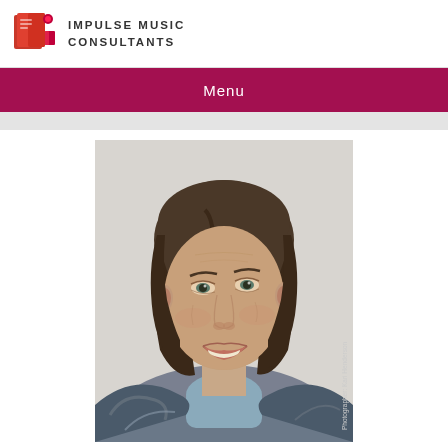[Figure (logo): Impulse Music Consultants logo with red/orange book icon and text]
Menu
[Figure (photo): Portrait photograph of a middle-aged woman with dark hair, smiling, wearing a blue turtleneck and colorful jacket. Photographer credit: Kari Henderson visible on right edge.]